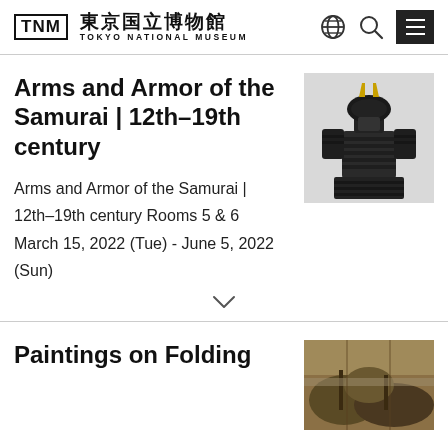TNM 東京国立博物館 TOKYO NATIONAL MUSEUM
Arms and Armor of the Samurai | 12th–19th century
Arms and Armor of the Samurai | 12th–19th century Rooms 5 & 6 March 15, 2022 (Tue) - June 5, 2022 (Sun)
[Figure (photo): Samurai armor, dark lacquered with gold ornamentation on helmet, displayed on white background]
Paintings on Folding
[Figure (photo): Painting on folding screen, brownish landscape scene]